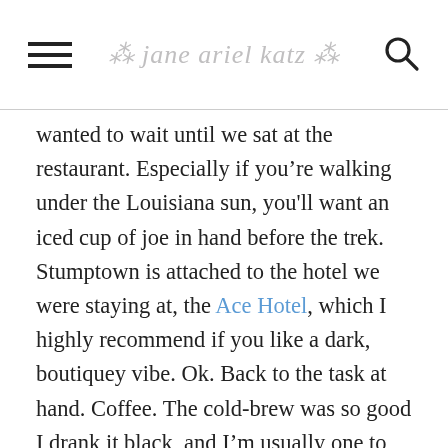* jane ariel katz *
wanted to wait until we sat at the restaurant. Especially if you’re walking under the Louisiana sun, you'll want an iced cup of joe in hand before the trek. Stumptown is attached to the hotel we were staying at, the Ace Hotel, which I highly recommend if you like a dark, boutiquey vibe. Ok. Back to the task at hand. Coffee. The cold-brew was so good I drank it black, and I’m usually one to add a stream of whole milk to coffee. Stumptown is in the Warehouse District, so if it's a shlep from where you are, you can check out